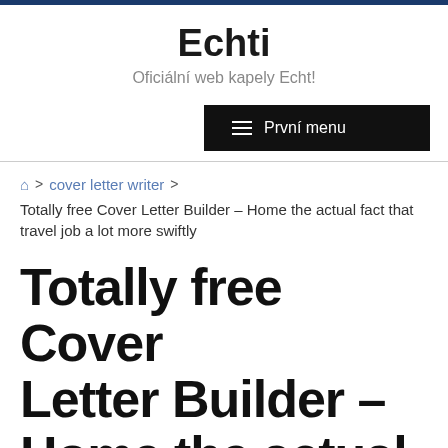Echti
Oficiální web kapely Echt!
První menu
🏠 > cover letter writer > Totally free Cover Letter Builder – Home the actual fact that travel job a lot more swiftly
Totally free Cover Letter Builder – Home the actual